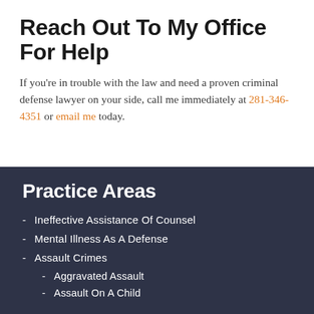Reach Out To My Office For Help
If you're in trouble with the law and need a proven criminal defense lawyer on your side, call me immediately at 281-346-4351 or email me today.
Practice Areas
Ineffective Assistance Of Counsel
Mental Illness As A Defense
Assault Crimes
Aggravated Assault
Assault On A Child